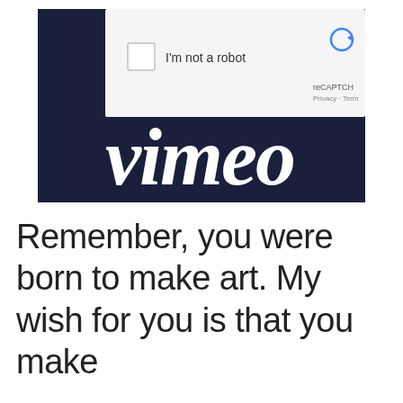[Figure (screenshot): Screenshot of a webpage showing a reCAPTCHA widget ('I'm not a robot' checkbox with reCAPTCHA logo and 'Privacy - Terms' text) overlaid on top of the Vimeo logo (white italic text on dark navy background).]
Remember, you were born to make art. My wish for you is that you make